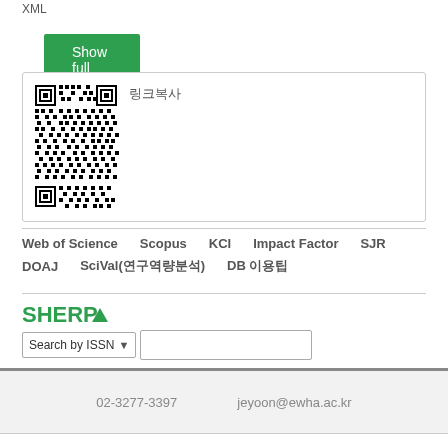XML
Show full item record
[Figure (other): QR code with Korean label text (링크복사)]
Web of Science   Scopus   KCI   Impact Factor   SJR   DOAJ   SciVal(연구역량분석)   DB 이용팁
[Figure (logo): SHERPA logo in green with triangle]
Search by ISSN  [dropdown]  [input field]
02-3277-3397     jeyoon@ewha.ac.kr